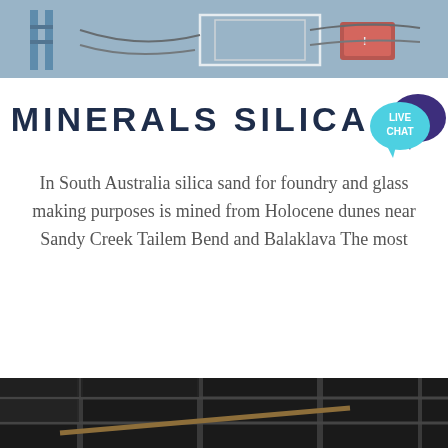[Figure (photo): Industrial or mining equipment photo at the top of the page, showing machinery with cables and a red container]
MINERALS SILICA
[Figure (illustration): Live Chat speech bubble icon in teal and dark purple]
In South Australia silica sand for foundry and glass making purposes is mined from Holocene dunes near Sandy Creek Tailem Bend and Balaklava The most
[Figure (photo): Dark industrial interior photo at the bottom of the page showing shelving or racks]